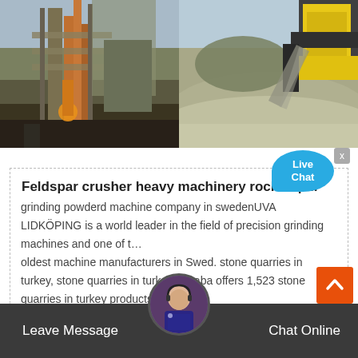[Figure (photo): Two side-by-side photos: left shows a large industrial mineral processing / crushing plant with scaffolding and orange crane equipment; right shows a yellow heavy machinery loader dumping crushed stone/gravel onto a large pile outdoors.]
Feldspar crusher heavy machinery rock imp...
grinding powderd machine company in swedenUVA LIDKÖPING is a world leader in the field of precision grinding machines and one of t… oldest machine manufacturers in Swed. stone quarries in turkey, stone quarries in turkey Alibaba offers 1,523 stone quarries in turkey products
Leave Message   Chat Online